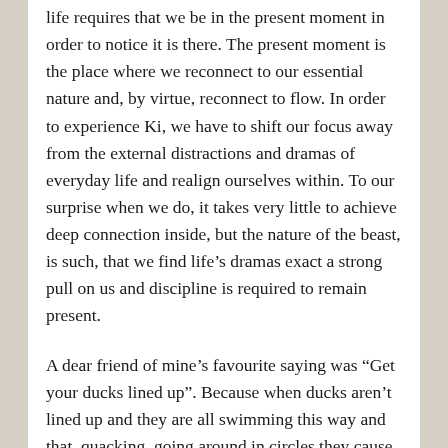life requires that we be in the present moment in order to notice it is there. The present moment is the place where we reconnect to our essential nature and, by virtue, reconnect to flow. In order to experience Ki, we have to shift our focus away from the external distractions and dramas of everyday life and realign ourselves within. To our surprise when we do, it takes very little to achieve deep connection inside, but the nature of the beast, is such, that we find life's dramas exact a strong pull on us and discipline is required to remain present.
A dear friend of mine's favourite saying was “Get your ducks lined up”. Because when ducks aren’t lined up and they are all swimming this way and that, quacking, going around in circles they cause chaos. Getting our own ducks lined up requires us to bring our minds back to the present, find our centre and reconnect to the flow through our internal energy system once more.
When we do get back into the flow, we see how out of sync we had been previously. Being in the flow is an